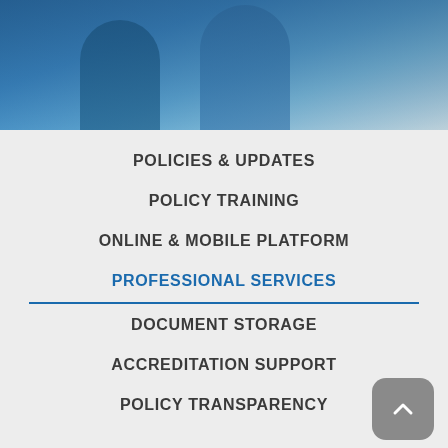[Figure (photo): Blue-toned photo banner showing medical professionals in scrubs, partially visible, with a blue overlay gradient]
POLICIES & UPDATES
POLICY TRAINING
ONLINE & MOBILE PLATFORM
PROFESSIONAL SERVICES
DOCUMENT STORAGE
ACCREDITATION SUPPORT
POLICY TRANSPARENCY